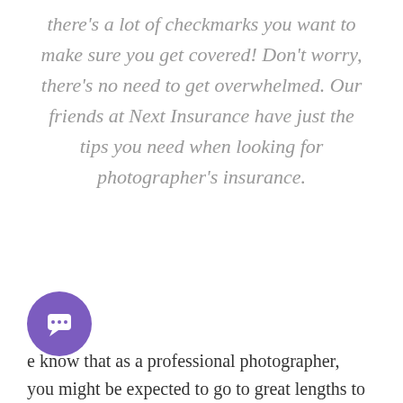there's a lot of checkmarks you want to make sure you get covered! Don't worry, there's no need to get overwhelmed. Our friends at Next Insurance have just the tips you need when looking for photographer's insurance.
[Figure (illustration): Purple circular chat/messenger icon with a white speech bubble smiley face]
e know that as a professional photographer, you might be expected to go to great lengths to